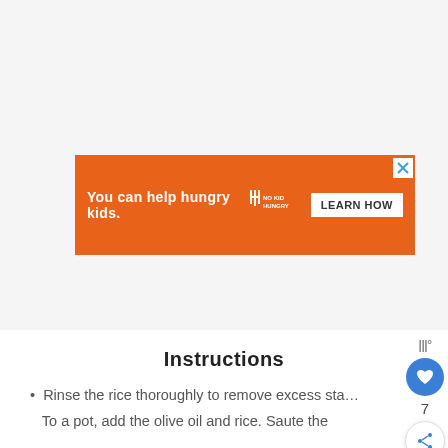[Figure (other): Orange advertisement banner reading 'You can help hungry kids.' with No Kid Hungry logo and 'LEARN HOW' button, with close X button in top-right corner]
Instructions
Rinse the rice thoroughly to remove excess sta...
To a pot, add the olive oil and rice. Saute the...